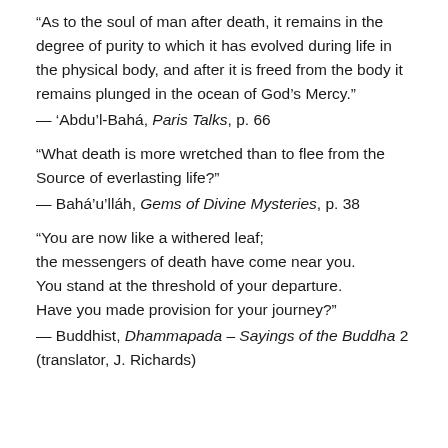“As to the soul of man after death, it remains in the degree of purity to which it has evolved during life in the physical body, and after it is freed from the body it remains plunged in the ocean of God’s Mercy.”
— ‘Abdu’l-Bahá, Paris Talks, p. 66
“What death is more wretched than to flee from the Source of everlasting life?”
— Bahá’u’lláh, Gems of Divine Mysteries, p. 38
“You are now like a withered leaf;
the messengers of death have come near you.
You stand at the threshold of your departure.
Have you made provision for your journey?”
— Buddhist, Dhammapada – Sayings of the Buddha 2 (translator, J. Richards)